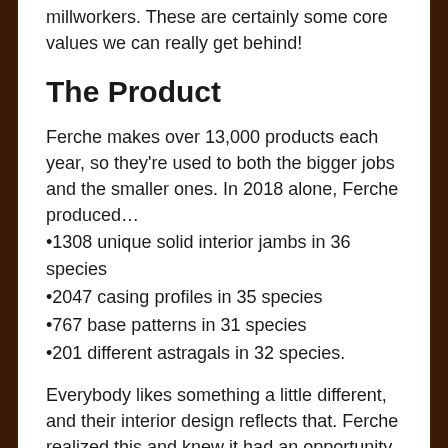millworkers. These are certainly some core values we can really get behind!
The Product
Ferche makes over 13,000 products each year, so they're used to both the bigger jobs and the smaller ones. In 2018 alone, Ferche produced…
•1308 unique solid interior jambs in 36 species
•2047 casing profiles in 35 species
•767 base patterns in 31 species
•201 different astragals in 32 species.
Everybody likes something a little different, and their interior design reflects that. Ferche realized this and knew it had an opportunity to become a